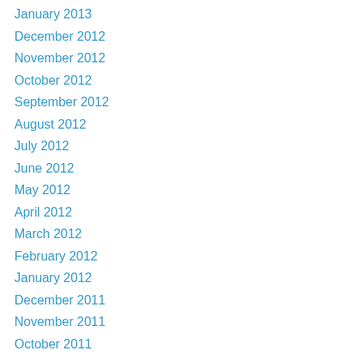January 2013
December 2012
November 2012
October 2012
September 2012
August 2012
July 2012
June 2012
May 2012
April 2012
March 2012
February 2012
January 2012
December 2011
November 2011
October 2011
September 2011
August 2011